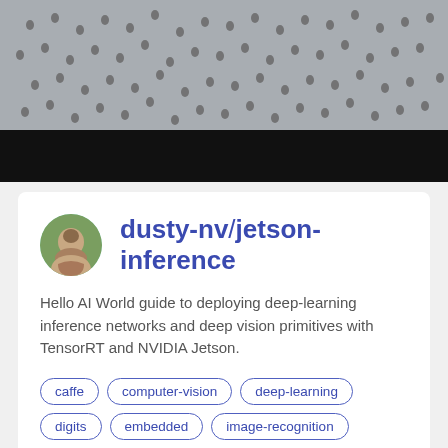[Figure (photo): Top portion shows a crowd of people viewed from above, with an aerial/overhead photo of many people packed together. Below the crowd photo is a solid black banner/bar.]
dusty-nv/jetson-inference
Hello AI World guide to deploying deep-learning inference networks and deep vision primitives with TensorRT and NVIDIA Jetson.
caffe
computer-vision
deep-learning
digits
embedded
image-recognition
inference
jetson
jetson-nano
jetson-tx1
jetson-tx2
jetson-xavier
jetson-xavier-nx
machine-learning
nvidia